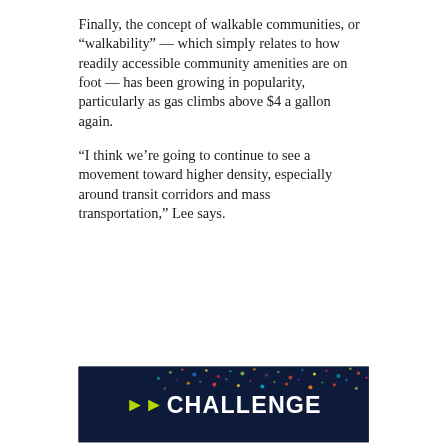Finally, the concept of walkable communities, or “walkability” — which simply relates to how readily accessible community amenities are on foot — has been growing in popularity, particularly as gas climbs above $4 a gallon again.
“I think we’re going to continue to see a movement toward higher density, especially around transit corridors and mass transportation,” Lee says.
[Figure (other): Advertisement banner with dark navy background, colorful confetti/dot pattern, play button arrows in yellow-green, and bold white text reading CHALLENGE with additional text partially visible at bottom.]